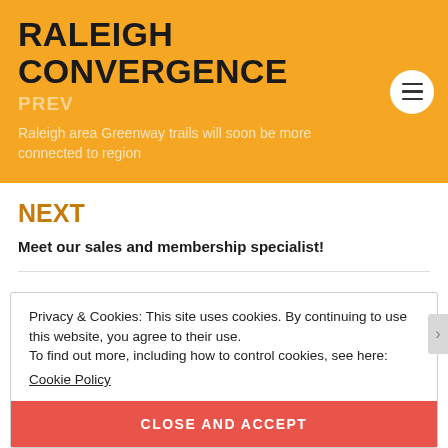RALEIGH CONVERGENCE
PREV
Raleigh area Greenway trails will soon be more connected to region
NEXT
Meet our sales and membership specialist!
Privacy & Cookies: This site uses cookies. By continuing to use this website, you agree to their use.
To find out more, including how to control cookies, see here:
Cookie Policy
CLOSE AND ACCEPT